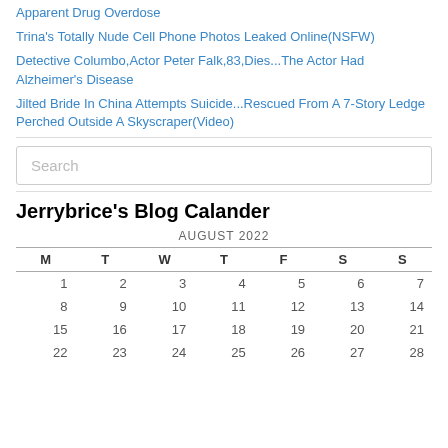Apparent Drug Overdose
Trina's Totally Nude Cell Phone Photos Leaked Online(NSFW)
Detective Columbo,Actor Peter Falk,83,Dies...The Actor Had Alzheimer's Disease
Jilted Bride In China Attempts Suicide...Rescued From A 7-Story Ledge Perched Outside A Skyscraper(Video)
Search
Jerrybrice's Blog Calander
| M | T | W | T | F | S | S |
| --- | --- | --- | --- | --- | --- | --- |
| 1 | 2 | 3 | 4 | 5 | 6 | 7 |
| 8 | 9 | 10 | 11 | 12 | 13 | 14 |
| 15 | 16 | 17 | 18 | 19 | 20 | 21 |
| 22 | 23 | 24 | 25 | 26 | 27 | 28 |